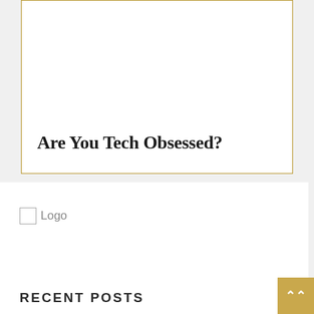[Figure (other): White card with golden border, containing the title text 'Are You Tech Obsessed?']
Are You Tech Obsessed?
[Figure (logo): Small square logo placeholder box with the word 'Logo' next to it]
RECENT POSTS